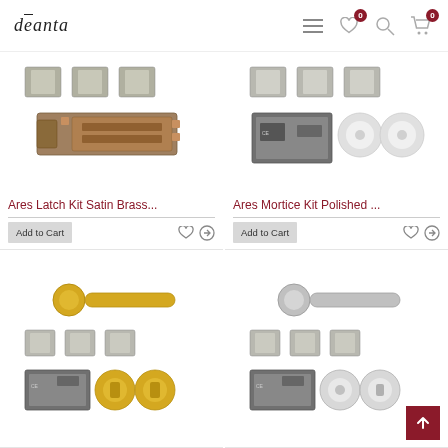deanta — navigation header with menu, wishlist (0), search, cart (0)
[Figure (photo): Ares Latch Kit Satin Brass product image showing hinges and latch components]
Ares Latch Kit Satin Brass...
[Figure (photo): Ares Mortice Kit Polished product image showing hinges, mortice lock, and escutcheons]
Ares Mortice Kit Polished ...
[Figure (photo): Door handle kit in polished brass/gold finish with hinges and mortice lock components]
[Figure (photo): Door handle kit in satin chrome/silver finish with hinges and mortice lock components]